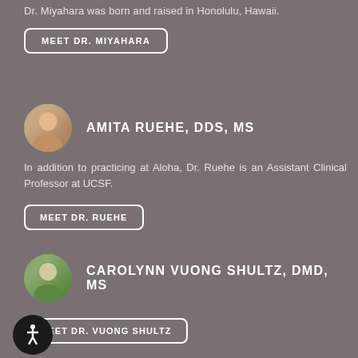Dr. Miyahara was born and raised in Honolulu, Hawaii.
MEET DR. MIYAHARA
AMITA RUEHE, DDS, MS
In addition to practicing at Aloha, Dr. Ruehe is an Assistant Clinical Professor at UCSF.
MEET DR. RUEHE
CAROLYNN VUONG SHULTZ, DMD, MS
MEET DR. VUONG SHULTZ